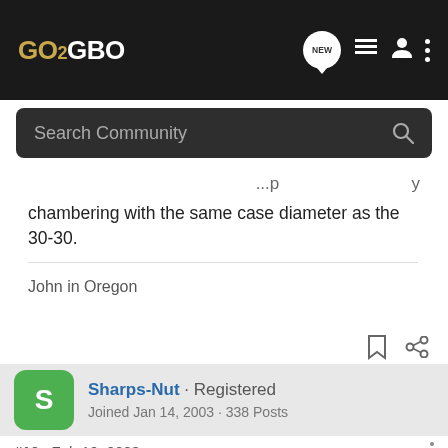GO2GBO
chambering with the same case diameter as the 30-30.
John in Oregon
Sharps-Nut · Registered
Joined Jan 14, 2003 · 338 Posts
#10 · Feb 19, 2003
223 pri
[Figure (advertisement): Bass Pro Shops ad: RELOADING SUPPLIES with SHOP NOW button]